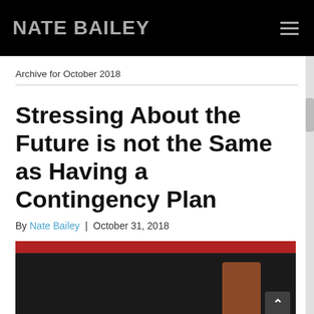NATE BAILEY
Archive for October 2018
Stressing About the Future is not the Same as Having a Contingency Plan
By Nate Bailey | October 31, 2018
[Figure (photo): Photo showing what appears to be a person in rain under a red overhang or umbrella, with a brown/orange object visible.]